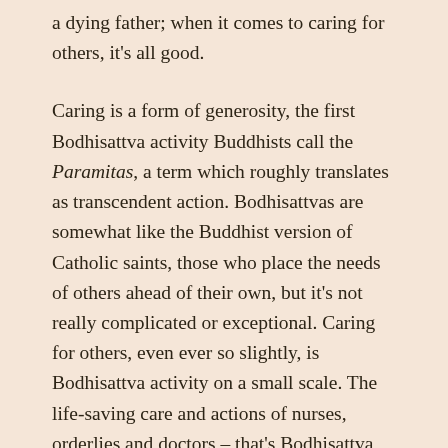a dying father; when it comes to caring for others, it's all good.
Caring is a form of generosity, the first Bodhisattva activity Buddhists call the Paramitas, a term which roughly translates as transcendent action. Bodhisattvas are somewhat like the Buddhist version of Catholic saints, those who place the needs of others ahead of their own, but it's not really complicated or exceptional. Caring for others, even ever so slightly, is Bodhisattva activity on a small scale. The life-saving care and actions of nurses, orderlies and doctors – that's Bodhisattva activity on a grand scale.
It's easiest, of course, to be generous and caring with those we love, but Bodhisattva activity can extend to